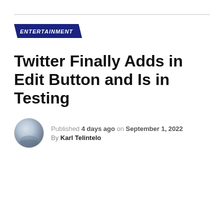ENTERTAINMENT
Twitter Finally Adds in Edit Button and Is in Testing
Published 4 days ago on September 1, 2022
By Karl Telintelo